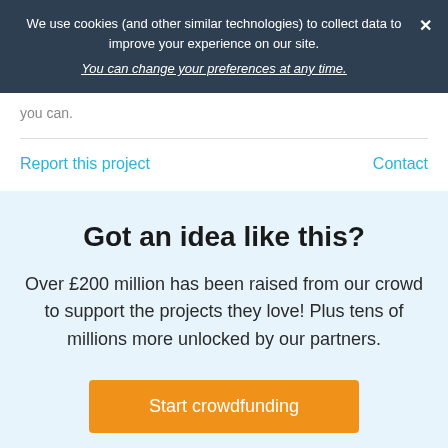We use cookies (and other similar technologies) to collect data to improve your experience on our site. You can change your preferences at any time.
you can.
Report this project   Contact
Got an idea like this?
Over £200 million has been raised from our crowd to support the projects they love! Plus tens of millions more unlocked by our partners.
Start crowdfunding